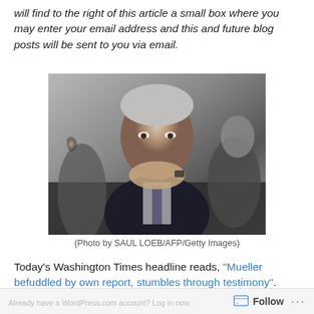will find to the right of this article a small box where you may enter your email address and this and future blog posts will be sent to you via email.
[Figure (photo): A man in a dark suit with clasped hands raised to his face, appearing to be in deep thought or concern, seated at what appears to be a hearing or testimony. Other men visible in background.]
(Photo by SAUL LOEB/AFP/Getty Images)
Today's Washington Times headline reads, "Mueller befuddled by own report, stumbles through testimony".
Follow ...